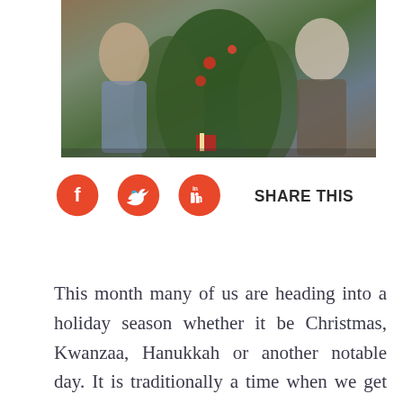[Figure (photo): A family photo in front of a Christmas tree with people standing around it, indoor setting with warm holiday atmosphere.]
[Figure (infographic): Social sharing row with Facebook, Twitter, and LinkedIn icons (orange circles with white logos) and 'SHARE THIS' text label.]
This month many of us are heading into a holiday season whether it be Christmas, Kwanzaa, Hanukkah or another notable day. It is traditionally a time when we get together with family and friends, open our hearts, and put our absolute best foot forward in hospitality and grace. The pandemic has changed the physicality of our lives but not the meaning and